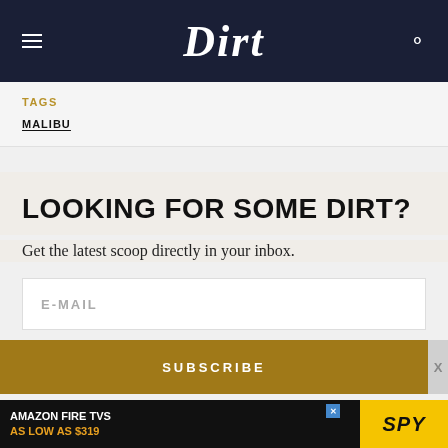Dirt
TAGS
MALIBU
LOOKING FOR SOME DIRT?
Get the latest scoop directly in your inbox.
E-MAIL
SUBSCRIBE
[Figure (other): Amazon Fire TVs advertisement banner: 'AMAZON FIRE TVS AS LOW AS $319' with SPY logo on yellow background]